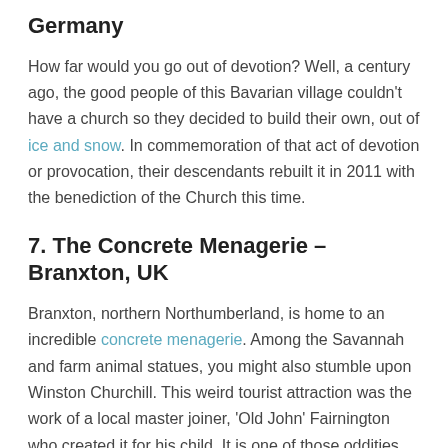Germany
How far would you go out of devotion? Well, a century ago, the good people of this Bavarian village couldn't have a church so they decided to build their own, out of ice and snow. In commemoration of that act of devotion or provocation, their descendants rebuilt it in 2011 with the benediction of the Church this time.
7. The Concrete Menagerie – Branxton, UK
Branxton, northern Northumberland, is home to an incredible concrete menagerie. Among the Savannah and farm animal statues, you might also stumble upon Winston Churchill. This weird tourist attraction was the work of a local master joiner, 'Old John' Fairnington who created it for his child. It is one of those oddities that bring crowds to small towns, and is the pride of the locals.